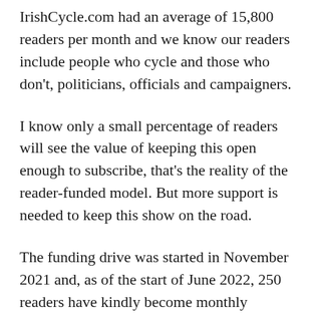IrishCycle.com had an average of 15,800 readers per month and we know our readers include people who cycle and those who don't, politicians, officials and campaigners.
I know only a small percentage of readers will see the value of keeping this open enough to subscribe, that's the reality of the reader-funded model. But more support is needed to keep this show on the road.
The funding drive was started in November 2021 and, as of the start of June 2022, 250 readers have kindly become monthly subscribers -- thank you very much to all that have!